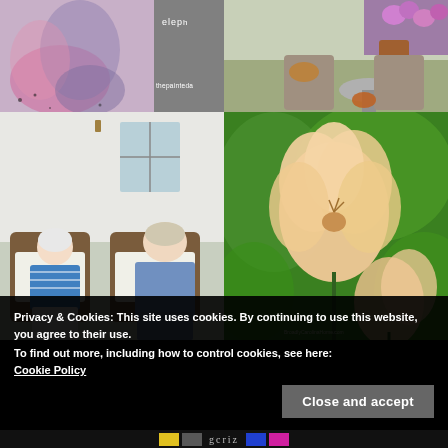[Figure (photo): Painted elephant artwork with pink/purple watercolor splashes, gray sidebar overlay with text 'eleph' and 'thepainteda']
[Figure (photo): Outdoor patio/garden scene with flowers, pots, a small round table and chairs]
[Figure (photo): Two elderly people sitting in wicker chairs on a porch]
[Figure (photo): Close-up of peach-colored daylily flowers with green foliage background, watermark 'BroadlyCarolinaHome.com']
Privacy & Cookies: This site uses cookies. By continuing to use this website, you agree to their use.
To find out more, including how to control cookies, see here:
Cookie Policy
Close and accept